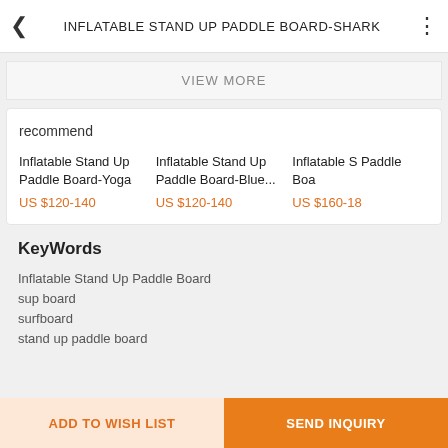INFLATABLE STAND UP PADDLE BOARD-SHARK
VIEW MORE
recommend
Inflatable Stand Up Paddle Board-Yoga
US $120-140
Inflatable Stand Up Paddle Board-Blue...
US $120-140
Inflatable Stand Up Paddle Boa...
US $160-18...
KeyWords
Inflatable Stand Up Paddle Board
sup board
surfboard
stand up paddle board
ADD TO WISH LIST
SEND INQUIRY